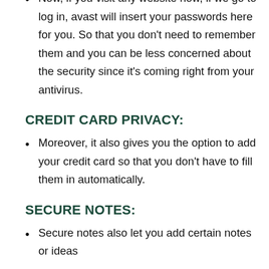Now, if you visit any website now, if we go to log in, avast will insert your passwords here for you. So that you don't need to remember them and you can be less concerned about the security since it's coming right from your antivirus.
CREDIT CARD PRIVACY:
Moreover, it also gives you the option to add your credit card so that you don't have to fill them in automatically.
SECURE NOTES:
Secure notes also let you add certain notes or ideas